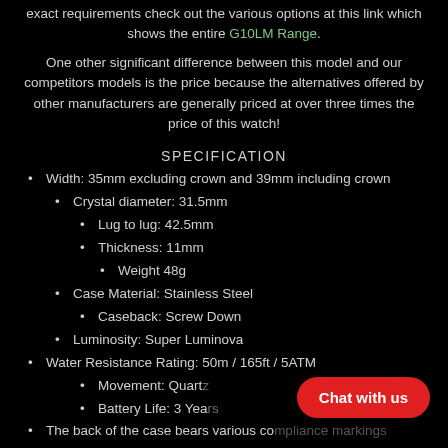exact requirements check out the various options at this link which shows the entire G10LM Range.
One other significant difference between this model and our competitors models is the price because the alternatives offered by other manufacturers are generally priced at over three times the price of this watch!
SPECIFICATION
Width: 35mm excluding crown and 39mm including crown
Crystal diameter: 31.5mm
Lug to lug: 42.5mm
Thickness: 11mm
Weight 48g
Case Material: Stainless Steel
Caseback: Screw Down
Luminosity: Super Luminova
Water Resistance Rating: 50m / 165ft / 5ATM
Movement: Quartz
Battery Life: 3 Years
The back of the case bears various co... gs
Strap: 18mm Military Webbing Strap